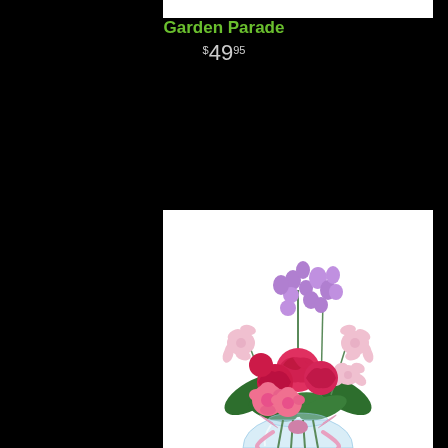Garden Parade
$49.95
[Figure (photo): A floral arrangement in a clear glass vase with pink roses, red carnations, purple stock flowers, and light pink alstroemeria, tied with a pink satin ribbon bow.]